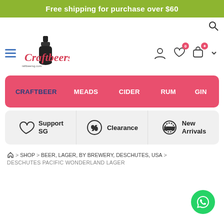Free shipping for purchase over $60
[Figure (logo): CraftbeerSG logo with beer bottle and italic script text]
CRAFTBEER
MEADS
CIDER
RUM
GIN
Support SG
Clearance
New Arrivals
🏠 > SHOP > BEER, LAGER, BY BREWERY, DESCHUTES, USA >
DESCHUTES PACIFIC WONDERLAND LAGER